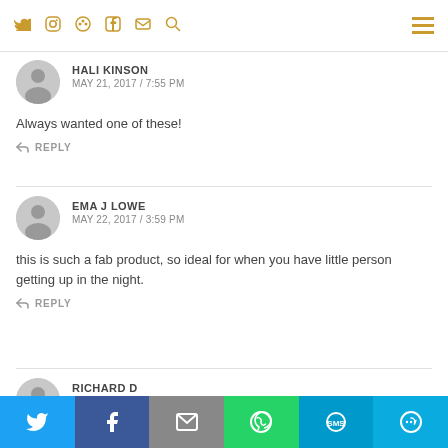Navigation bar with social icons: Twitter, Instagram, Pinterest, Facebook, LinkedIn, Email, Search, and hamburger menu
HALI KINSON
MAY 21, 2017 / 7:55 PM
Always wanted one of these!
REPLY
EMA J LOWE
MAY 22, 2017 / 3:59 PM
this is such a fab product, so ideal for when you have little person getting up in the night.
REPLY
RICHARD D
Share bar: Twitter, Facebook, Email, WhatsApp, SMS, More